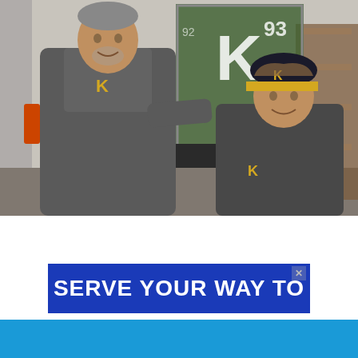[Figure (photo): Photo of two people wearing Kingston Frontenacs (K) hockey team apparel. An older man stands on the left in a grey polo shirt with a gold K logo, and a younger man sits on the right wearing a dark cap with a gold K logo and matching team apparel. A framed jersey with the letter K and number 93 hangs on the wall in the background.]
[Figure (infographic): Advertisement banner with dark blue background reading 'SERVE YOUR WAY TO' in large bold white text, with an X close button in top right corner.]
[Figure (infographic): Bottom app download bar in light blue with CHL App logo on the left, a 'Download App' button in the center, and an X button on the right.]